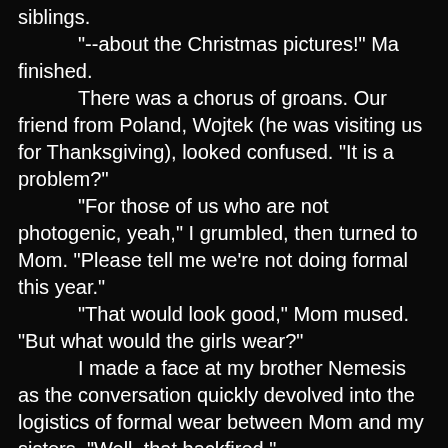siblings.
"--about the Christmas pictures!" Ma finished.
There was a chorus of groans. Our friend from Poland, Wojtek (he was visiting us for Thanksgiving), looked confused. "It is a problem?"
"For those of us who are not photogenic, yeah," I grumbled, then turned to Mom. "Please tell me we're not doing formal this year."
"That would look good," Mom mused. "But what would the girls wear?"
I made a face at my brother Nemesis as the conversation quickly devolved into the logistics of formal wear between Mom and my sisters. "Well, that backfired."
He shrugged placidly and kept eating. "I didn't bring my suit."
"You could borrow one of Radar's," Ma interjected.
"Can't get out of it that easily," I chuckled. "And I think I do have one that would fit you."
"You do not. You're a twig!" Nemesis returned, refraining from pointing out (again) that he outweighed me by fifty pounds. It was a bit of a sore subject for me.
I resisted the urge to kick him. "Well, last time we got